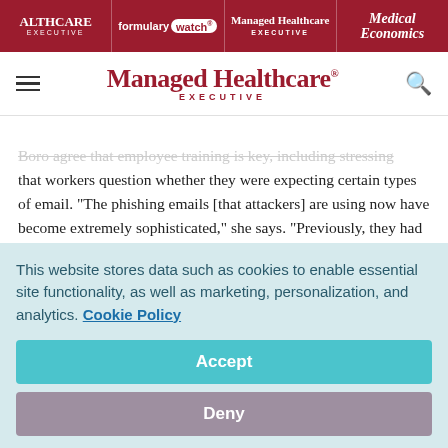ALTHCARE EXECUTIVE | formulary watch | Managed Healthcare EXECUTIVE | Medical Economics
[Figure (logo): Managed Healthcare Executive logo with hamburger menu and search icon]
Boro agree that employee training is key, including stressing that workers question whether they were expecting certain types of email. "The phishing emails [that attackers] are using now have become extremely sophisticated," she says. "Previously, they had spelling errors [and other noticeable flaws] ... but now it can look legitimate, so it's difficult to know." Many organizations are trying to put in more
This website stores data such as cookies to enable essential site functionality, as well as marketing, personalization, and analytics. Cookie Policy
Accept
Deny